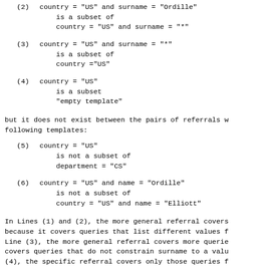(2) country = "US" and surname = "Ordille"
     is a subset of
     country = "US" and surname = "*"
(3) country = "US" and surname = "*"
     is a subset of
     country ="US"
(4) country = "US"
     is a subset
     "empty template"
but it does not exist between the pairs of referrals w following templates:
(5) country = "US"
     is not a subset of
     department = "CS"
(6) country = "US" and name = "Ordille"
     is not a subset of
     country = "US" and name = "Elliott"
In Lines (1) and (2), the more general referral covers because it covers queries that list different values f Line (3), the more general referral covers more querie covers queries that do not constrain surname to a valu (4), the specific referral covers only those queries f the country to "US" while the empty template covers o